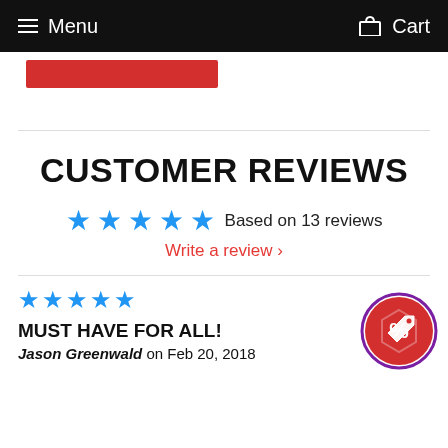Menu   Cart
CUSTOMER REVIEWS
★★★★★ Based on 13 reviews
Write a review ›
★★★★★
MUST HAVE FOR ALL!
Jason Greenwald on Feb 20, 2018